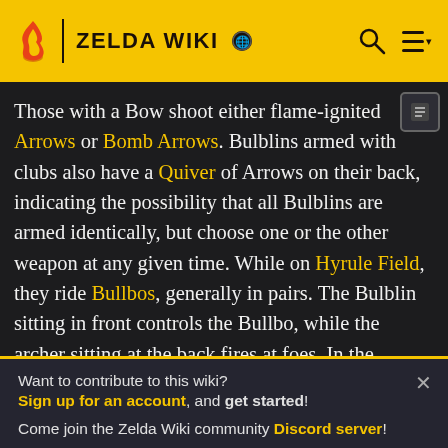ZELDA WIKI
Those with a Bow shoot either flame-ignited Arrows or Bomb Arrows. Bulblins armed with clubs also have a Quiver of Arrows on their back, indicating the possibility that all Bulblins are armed identically, but choose one or the other weapon at any given time. While on Hyrule Field, they ride Bullbos, generally in pairs. The Bulblin sitting in front controls the Bullbo, while the archer sitting at the back fires at foes. In the Twilight, they become Shadow Bulblins, which alters their appearance. They wear white masks and attack in the same way as normal Bulblins,
Want to contribute to this wiki?
Sign up for an account, and get started!

Come join the Zelda Wiki community Discord server!